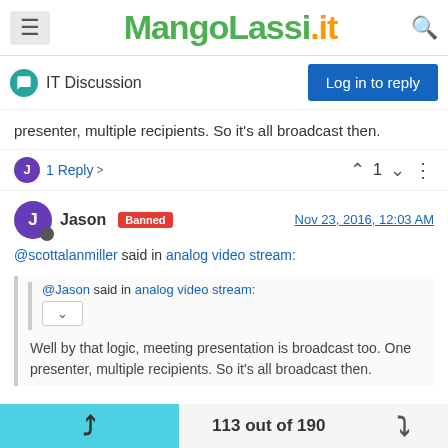MangoLassi.it
IT Discussion
presenter, multiple recipients. So it's all broadcast then.
1 Reply   1
Jason  Banned   Nov 23, 2016, 12:03 AM
@scottalanmiller said in analog video stream:
@Jason said in analog video stream: Well by that logic, meeting presentation is broadcast too. One presenter, multiple recipients. So it's all broadcast then.
113 out of 190